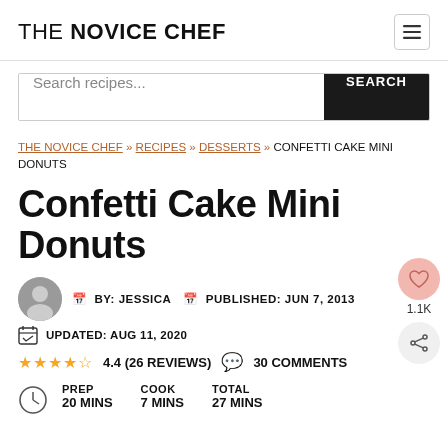THE NOVICE CHEF
Search recipes...
THE NOVICE CHEF » RECIPES » DESSERTS » CONFETTI CAKE MINI DONUTS
Confetti Cake Mini Donuts
BY: JESSICA  PUBLISHED: JUN 7, 2013
UPDATED: AUG 11, 2020
4.4 (26 REVIEWS)  30 COMMENTS
PREP 20 MINS  COOK 7 MINS  TOTAL 27 MINS